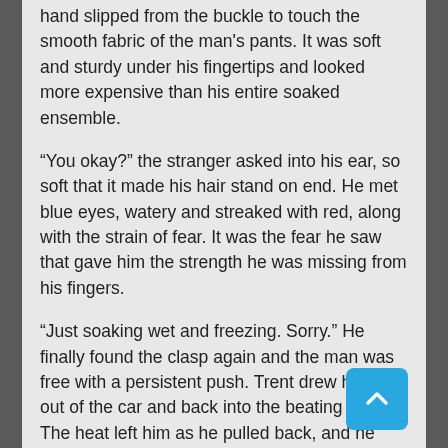hand slipped from the buckle to touch the smooth fabric of the man's pants. It was soft and sturdy under his fingertips and looked more expensive than his entire soaked ensemble.
“You okay?” the stranger asked into his ear, so soft that it made his hair stand on end. He met blue eyes, watery and streaked with red, along with the strain of fear. It was the fear he saw that gave him the strength he was missing from his fingers.
“Just soaking wet and freezing. Sorry.” He finally found the clasp again and the man was free with a persistent push. Trent drew himself out of the car and back into the beating rain. The heat left him as he pulled back, and he shivered in earnest this time.
“Yeah, sorry about that.” The stranger grimaced and leaned forward as he grasped the yellow roof to pull